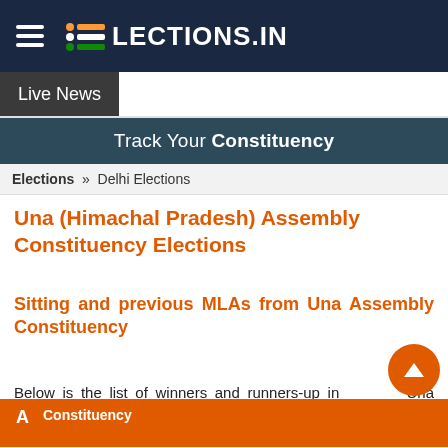ELECTIONS.IN
Live News
Track Your Constituency
Elections » Delhi Elections
Una (Himachal Pradesh) Assembly Constituency Elections
Sitting and previous MLAs from Una Assembly Constituency
Below is the list of winners and runners-up in Una assembly elections conducted so far.
| A | Constituency |
| --- | --- |